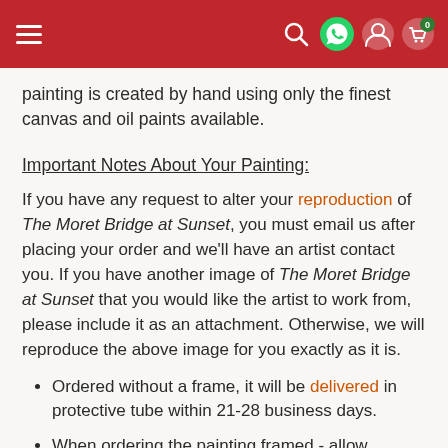Navigation bar with hamburger menu, search, WhatsApp, account, and cart (0) icons
painting is created by hand using only the finest canvas and oil paints available.
Important Notes About Your Painting:
If you have any request to alter your reproduction of The Moret Bridge at Sunset, you must email us after placing your order and we'll have an artist contact you. If you have another image of The Moret Bridge at Sunset that you would like the artist to work from, please include it as an attachment. Otherwise, we will reproduce the above image for you exactly as it is.
Ordered without a frame, it will be delivered in protective tube within 21-28 business days.
When ordering the painting framed - allow additional 5-7 days for delivery. The painting will arrive ready to hang.